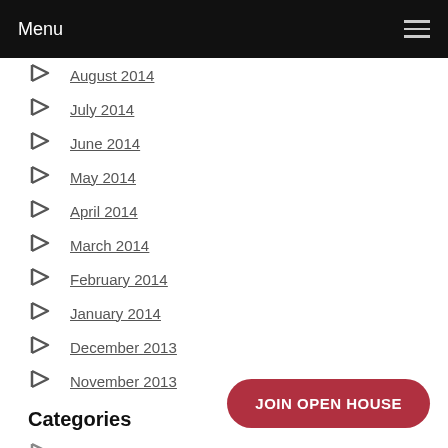Menu
August 2014
July 2014
June 2014
May 2014
April 2014
March 2014
February 2014
January 2014
December 2013
November 2013
Categories
Acting
Audio